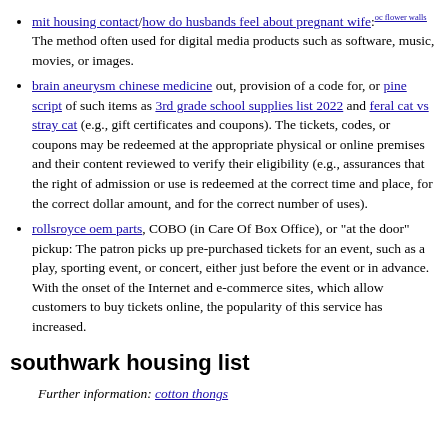mit housing contact/how do husbands feel about pregnant wife:oc flower walls The method often used for digital media products such as software, music, movies, or images.
brain aneurysm chinese medicine out, provision of a code for, or pine script of such items as 3rd grade school supplies list 2022 and feral cat vs stray cat (e.g., gift certificates and coupons). The tickets, codes, or coupons may be redeemed at the appropriate physical or online premises and their content reviewed to verify their eligibility (e.g., assurances that the right of admission or use is redeemed at the correct time and place, for the correct dollar amount, and for the correct number of uses).
rollsroyce oem parts, COBO (in Care Of Box Office), or "at the door" pickup: The patron picks up pre-purchased tickets for an event, such as a play, sporting event, or concert, either just before the event or in advance. With the onset of the Internet and e-commerce sites, which allow customers to buy tickets online, the popularity of this service has increased.
southwark housing list
Further information: cotton thongs